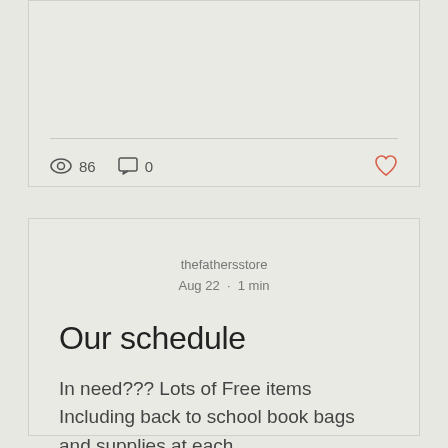[Figure (screenshot): Top portion of a social media post card showing a divider line, view count icon with 86, comment icon with 0, and a heart/like icon in red/coral color]
thefathersstore
Aug 22 · 1 min
Our schedule
In need??? Lots of Free items Including back to school book bags and supplies at each...